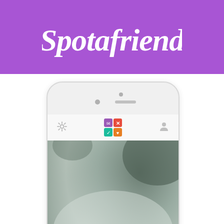[Figure (logo): Spotafriend app promotional image with purple banner at top showing the Spotafriend logo in white script/italic text, and below a white iPhone mockup displaying the Spotafriend app interface with a blurry photo on screen]
Spotafriend